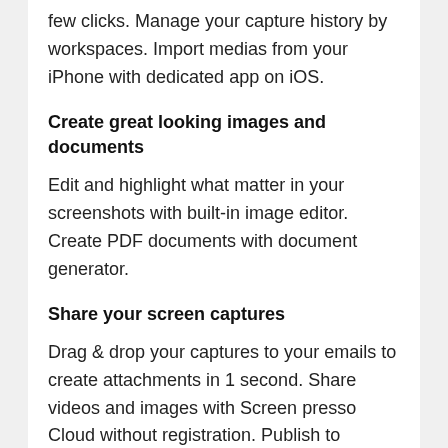few clicks. Manage your capture history by workspaces. Import medias from your iPhone with dedicated app on iOS.
Create great looking images and documents
Edit and highlight what matter in your screenshots with built-in image editor. Create PDF documents with document generator.
Share your screen captures
Drag & drop your captures to your emails to create attachments in 1 second. Share videos and images with Screen presso Cloud without registration. Publish to Evernote, Google Drive, Twitter, Facebook, Dropbox and more…